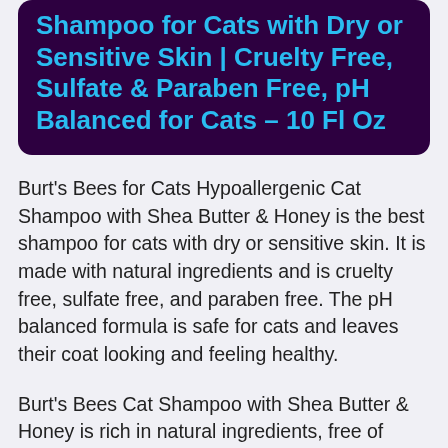Shampoo for Cats with Dry or Sensitive Skin | Cruelty Free, Sulfate & Paraben Free, pH Balanced for Cats – 10 Fl Oz
Burt's Bees for Cats Hypoallergenic Cat Shampoo with Shea Butter & Honey is the best shampoo for cats with dry or sensitive skin. It is made with natural ingredients and is cruelty free, sulfate free, and paraben free. The pH balanced formula is safe for cats and leaves their coat looking and feeling healthy.
Burt's Bees Cat Shampoo with Shea Butter & Honey is rich in natural ingredients, free of cruelty and sulfates, and has a pH balance. This shampoo will improve the health of your cat's